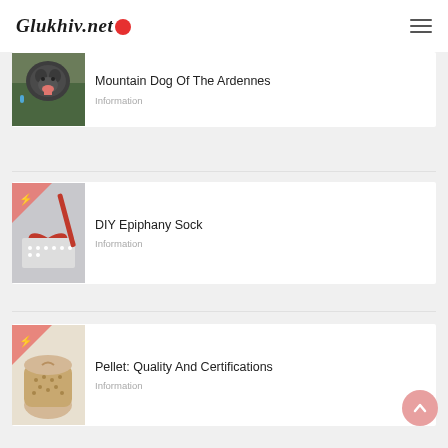Glukhiv.net
Mountain Dog Of The Ardennes
Information
[Figure (photo): A dark grey shaggy dog with tongue out on grass]
DIY Epiphany Sock
Information
[Figure (photo): Red crocheted heart shape with white beads and a red pencil]
Pellet: Quality And Certifications
Information
[Figure (photo): A sack of wood pellets / grain on white background]